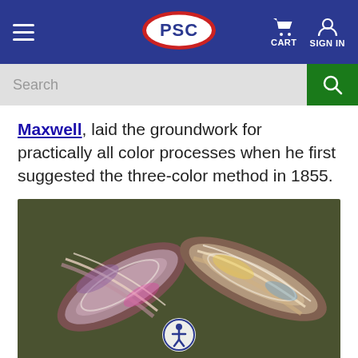PSC — CART SIGN IN
Maxwell, laid the groundwork for practically all color processes when he first suggested the three-color method in 1855.
[Figure (photo): Close-up photograph of two colorful ribbon or bow-like objects against a dark olive/green background. An accessibility icon (person in a circle) is overlaid at the bottom center.]